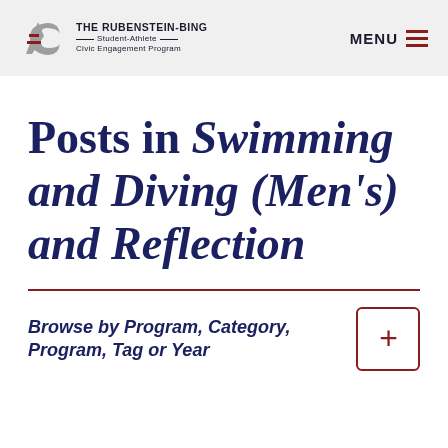THE RUBENSTEIN-BING Student-Athlete Civic Engagement Program | MENU
Posts in Swimming and Diving (Men's) and Reflection
Browse by Program, Category, Program, Tag or Year